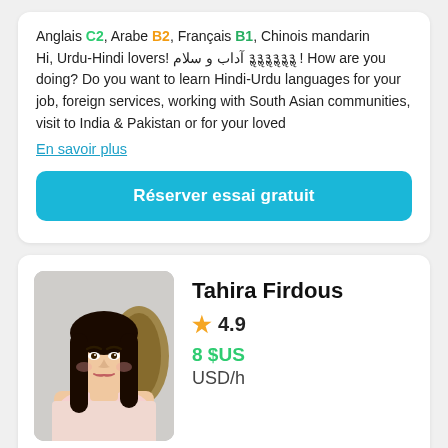Anglais C2, Arabe B2, Français B1, Chinois mandarin
Hi, Urdu-Hindi lovers! آداب و سلام ३ॢ३ॢ३ॢ३ॢ३ॢ३ॢ ! How are you doing? Do you want to learn Hindi-Urdu languages for your job, foreign services, working with South Asian communities, visit to India & Pakistan or for your loved
En savoir plus
Réserver essai gratuit
Tahira Firdous
4.9
8 $US
USD/h
[Figure (photo): Profile photo of Tahira Firdous, a woman with long dark hair wearing a light pink top, seated indoors]
Enseigne
Depuis
Cours